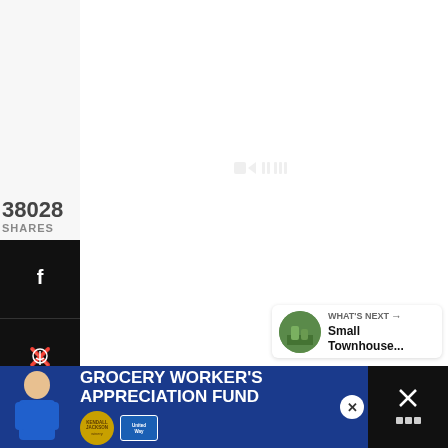38028
SHARES
[Figure (screenshot): Social media share sidebar with Facebook, Pinterest, Twitter, Email, and Print icons on black background]
[Figure (screenshot): Heart/like button with 38.2K count and share button floating on right side]
[Figure (screenshot): What's Next panel with thumbnail and text 'Small Townhouse...']
[Figure (screenshot): Grocery Worker's Appreciation Fund advertisement banner with Kendall Jackson and United Way logos]